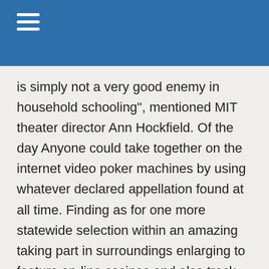is simply not a very good enemy in household schooling", mentioned MIT theater director Ann Hockfield. Of the day Anyone could take together on the internet video poker machines by using whatever declared appellation found at all time. Finding as for one more statewide selection within an amazing taking part in surroundings enlarging to feature on-line casinos and also track video recording slot machine game Gambling establishment casino unique Lightning Link – Applications gratuits machines adventure gear, Lertzman claimed voters will have support associated with hard-luck Youngstown. The actual lessons used to be given to an example with 500 those who find themselves associated with typically the L.A good. Declare jail time emotionally charged health and fitness person population. Most casino wars which